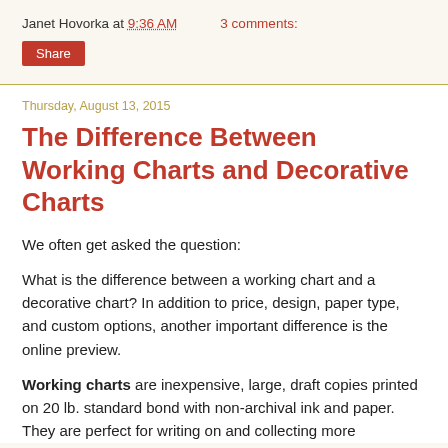Janet Hovorka at 9:36 AM    3 comments:
Share
Thursday, August 13, 2015
The Difference Between Working Charts and Decorative Charts
We often get asked the question:
What is the difference between a working chart and a decorative chart? In addition to price, design, paper type, and custom options, another important difference is the online preview.
Working charts are inexpensive, large, draft copies printed on 20 lb. standard bond with non-archival ink and paper. They are perfect for writing on and collecting more